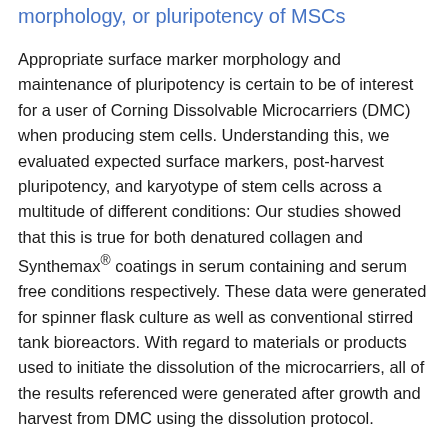morphology, or pluripotency of MSCs
Appropriate surface marker morphology and maintenance of pluripotency is certain to be of interest for a user of Corning Dissolvable Microcarriers (DMC) when producing stem cells. Understanding this, we evaluated expected surface markers, post-harvest pluripotency, and karyotype of stem cells across a multitude of different conditions: Our studies showed that this is true for both denatured collagen and Synthemax® coatings in serum containing and serum free conditions respectively. These data were generated for spinner flask culture as well as conventional stirred tank bioreactors. With regard to materials or products used to initiate the dissolution of the microcarriers, all of the results referenced were generated after growth and harvest from DMC using the dissolution protocol.